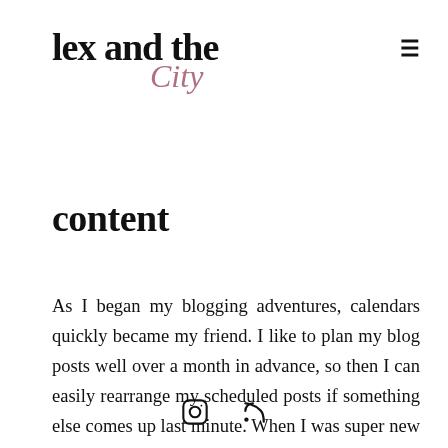lex and the City
content
As I began my blogging adventures, calendars quickly became my friend. I like to plan my blog posts well over a month in advance, so then I can easily rearrange my scheduled posts if something else comes up last minute. When I was super new to blogging, I would spend a few days taking countless photos to build an ongoing photo bank so I had ongoing content. My weekends and early mornings were filled with shoots (and still are
[Instagram icon] [RSS icon]